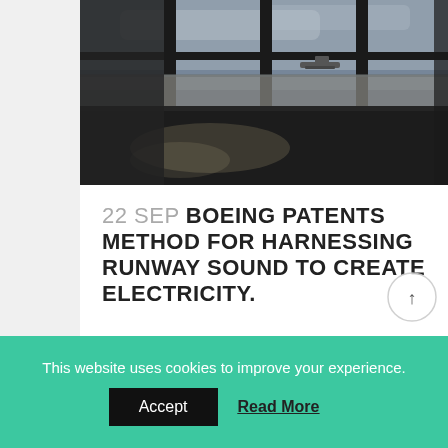[Figure (photo): Airport terminal interior photo showing large floor-to-ceiling windows with view of runway/tarmac outside. Dark floor reflects light. Planes visible in background.]
22 SEP BOEING PATENTS METHOD FOR HARNESSING RUNWAY SOUND TO CREATE ELECTRICITY.
This website uses cookies to improve your experience.
Accept  Read More